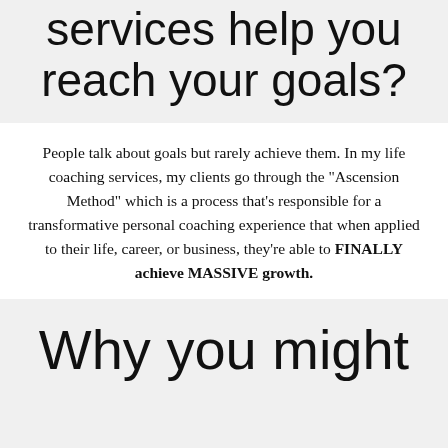services help you reach your goals?
People talk about goals but rarely achieve them. In my life coaching services, my clients go through the "Ascension Method" which is a process that's responsible for a transformative personal coaching experience that when applied to their life, career, or business, they're able to FINALLY achieve MASSIVE growth.
Why you might